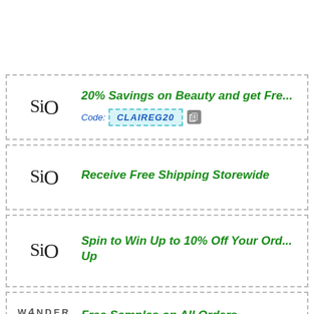[Figure (logo): SiO beauty logo with coupon: 20% Savings on Beauty and get Free... Code: CLAIREG20]
[Figure (logo): SiO beauty logo with coupon: Receive Free Shipping Storewide]
[Figure (logo): SiO beauty logo with coupon: Spin to Win Up to 10% Off Your Order... Sign Up]
[Figure (logo): Wander Beauty logo with coupon: Free Samples on All Orders]